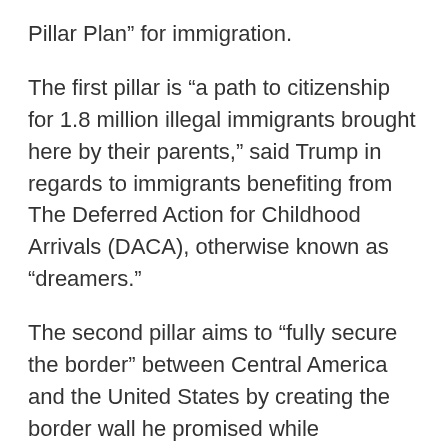Pillar Plan” for immigration.
The first pillar is “a path to citizenship for 1.8 million illegal immigrants brought here by their parents,” said Trump in regards to immigrants benefiting from The Deferred Action for Childhood Arrivals (DACA), otherwise known as “dreamers.”
The second pillar aims to “fully secure the border” between Central America and the United States by creating the border wall he promised while campaigning for the presidency.